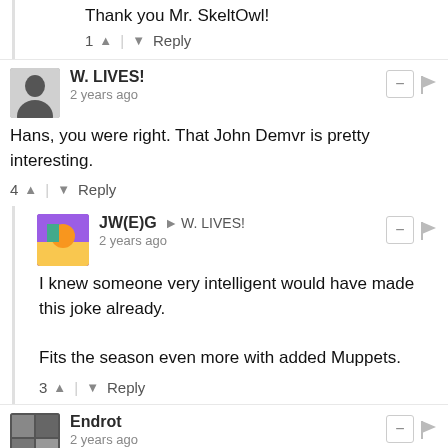Thank you Mr. SkeltOwl!
1 ↑ | ↓ Reply
W. LIVES! — 2 years ago
Hans, you were right. That John Demvr is pretty interesting.
4 ↑ | ↓ Reply
JW(E)G → W. LIVES! — 2 years ago
I knew someone very intelligent would have made this joke already.

Fits the season even more with added Muppets.
3 ↑ | ↓ Reply
Endrot — 2 years ago
View — uploads.disquscdn.com
4 ↑ | ↓ Reply
Óðinn → Endrot — 2 years ago